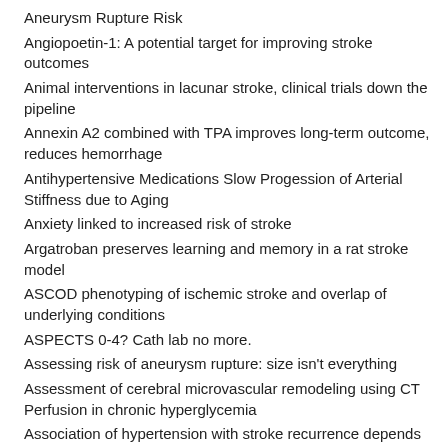Aneurysm Rupture Risk
Angiopoetin-1: A potential target for improving stroke outcomes
Animal interventions in lacunar stroke, clinical trials down the pipeline
Annexin A2 combined with TPA improves long-term outcome, reduces hemorrhage
Antihypertensive Medications Slow Progession of Arterial Stiffness due to Aging
Anxiety linked to increased risk of stroke
Argatroban preserves learning and memory in a rat stroke model
ASCOD phenotyping of ischemic stroke and overlap of underlying conditions
ASPECTS 0-4? Cath lab no more.
Assessing risk of aneurysm rupture: size isn't everything
Assessment of cerebral microvascular remodeling using CT Perfusion in chronic hyperglycemia
Association of hypertension with stroke recurrence depends on ischemic stroke subtype
Atherosclerosis in a General Population: the Hisayama Study
Atrial Fibrillation is Associated With Reduced Brain Volume and Cognitive Function Independent of Cerebral Infarcts
Atrial Fibrillation, Subclinical Infarcts, and Cognitive Decline
BCAA in rat model of stroke
Blood pressure management after carotid revascularization: We have to do